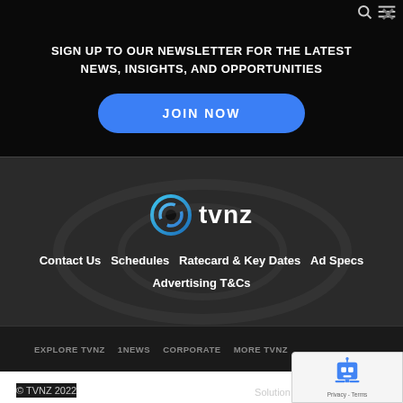SIGN UP TO OUR NEWSLETTER FOR THE LATEST NEWS, INSIGHTS, AND OPPORTUNITIES
JOIN NOW
[Figure (logo): TVNZ logo with blue swirl icon and 'tvnz' text]
Contact Us   Schedules   Ratecard & Key Dates   Ad Specs
Advertising T&Cs
EXPLORE TVNZ   1NEWS   CORPORATE   MORE TVNZ
© TVNZ 2022
Solution b